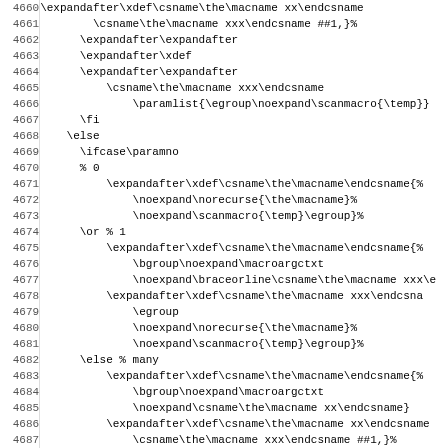[Figure (other): Source code listing in monospace font showing TeX/LaTeX macro code, lines 4660-4691]
4660  \expandafter\xdef\csname\the\macname xx\endcsname
4661        \csname\the\macname xxx\endcsname ##1,}%
4662      \expandafter\expandafter
4663      \expandafter\xdef
4664      \expandafter\expandafter
4665          \csname\the\macname xxx\endcsname
4666              \paramlist{\egroup\noexpand\scanmacro{\temp}}
4667      \fi
4668    \else
4669      \ifcase\paramno
4670      % 0
4671          \expandafter\xdef\csname\the\macname\endcsname{%
4672              \noexpand\norecurse{\the\macname}%
4673              \noexpand\scanmacro{\temp}\egroup}%
4674      \or % 1
4675          \expandafter\xdef\csname\the\macname\endcsname{%
4676              \bgroup\noexpand\macroargctxt
4677              \noexpand\braceorline\csname\the\macname xxx\e
4678          \expandafter\xdef\csname\the\macname xxx\endcsna
4679              \egroup
4680              \noexpand\norecurse{\the\macname}%
4681              \noexpand\scanmacro{\temp}\egroup}%
4682      \else % many
4683          \expandafter\xdef\csname\the\macname\endcsname{%
4684              \bgroup\noexpand\macroargctxt
4685              \noexpand\csname\the\macname xx\endcsname}
4686          \expandafter\xdef\csname\the\macname xx\endcsname
4687              \csname\the\macname xxx\endcsname ##1,}%
4688          \expandafter\expandafter
4689          \expandafter\xdef
4690          \expandafter\expandafter
4691          \csname\the\macname xxx\endcsname